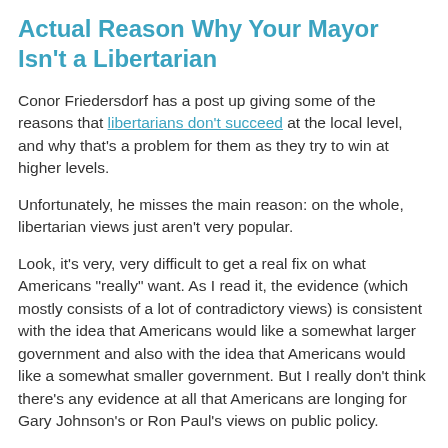Actual Reason Why Your Mayor Isn't a Libertarian
Conor Friedersdorf has a post up giving some of the reasons that libertarians don't succeed at the local level, and why that's a problem for them as they try to win at higher levels.
Unfortunately, he misses the main reason: on the whole, libertarian views just aren't very popular.
Look, it's very, very difficult to get a real fix on what Americans "really" want. As I read it, the evidence (which mostly consists of a lot of contradictory views) is consistent with the idea that Americans would like a somewhat larger government and also with the idea that Americans would like a somewhat smaller government. But I really don't think there's any evidence at all that Americans are longing for Gary Johnson's or Ron Paul's views on public policy.
That's particularly true, alas, on the issues with which I strongly agree with the libertarians: civil liberties. Again, the